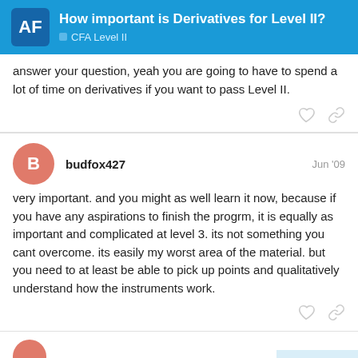How important is Derivatives for Level II? | CFA Level II
answer your question, yeah you are going to have to spend a lot of time on derivatives if you want to pass Level II.
budfox427   Jun '09
very important. and you might as well learn it now, because if you have any aspirations to finish the progrm, it is equally as important and complicated at level 3. its not something you cant overcome. its easily my worst area of the material. but you need to at least be able to pick up points and qualitatively understand how the instruments work.
13 / 21